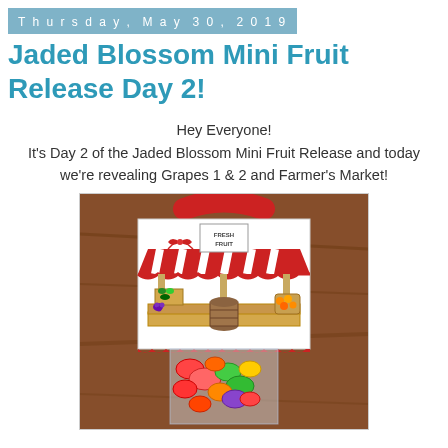Thursday, May 30, 2019
Jaded Blossom Mini Fruit Release Day 2!
Hey Everyone!
It's Day 2 of the Jaded Blossom Mini Fruit Release and today we're revealing Grapes 1 & 2 and Farmer's Market!
[Figure (photo): A handcrafted treat bag featuring a farmer's market stamp image on a red-handled bag, filled with colorful candies. The stamp shows a market stall with a red and white striped awning, fruit displays, and a 'Fresh Fruit' sign.]